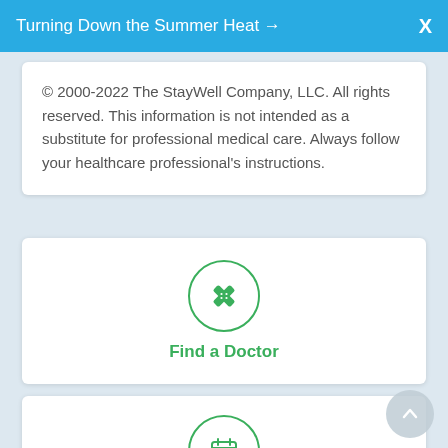Turning Down the Summer Heat →   X
© 2000-2022 The StayWell Company, LLC. All rights reserved. This information is not intended as a substitute for professional medical care. Always follow your healthcare professional's instructions.
[Figure (illustration): Green circle outline icon with a bandage/band-aid cross symbol inside]
Find a Doctor
[Figure (illustration): Green circle outline icon with a calendar symbol inside]
Request an Appointment